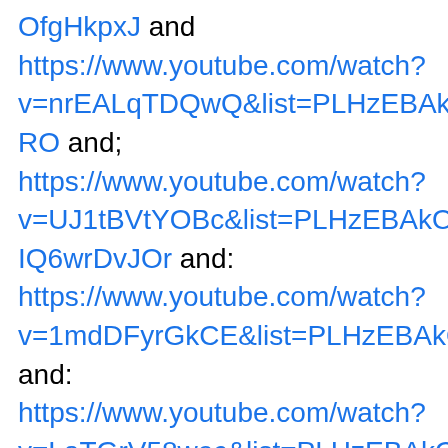OfgHkpxJ and https://www.youtube.com/watch?v=nrEALqTDQwQ&list=PLHzEBAkOMqTjm5tw3yyzmejoF70rVv-RO and; https://www.youtube.com/watch?v=UJ1tBVtYOBc&list=PLHzEBAkOMqTha0Cj63szlq-IQ6wrDvJOr and: https://www.youtube.com/watch?v=1mdDFyrGkCE&list=PLHzEBAkOMqTjwuJ5GLoBL2eMQy313pTWn and: https://www.youtube.com/watch?v=LaTGrV58wec&list=PLHzEBAkOMqTgoCuKcPu5kqgDivz0ecfcO and: https://www.youtube.com/watch?v=JWsRz3TJDEY&list=PLHzEBAkOMqTisbA7ucmSboHiv6XwdJ3C and: https://youtu.be/cC5mW9-avbw and LOL: https://youtu.be/0Ty8NTNj6JI Yeah!: https://youtu.be/cC5mW9-avbw 0:22: I know! Safe enough! https://youtu.be/0Ty8NTNj6JI 0:25: Yeah! and I am Mark Chapman Aka Nemo. This is meant cynical. Nothing more…nothing less at all. No……nothing at all! Yeah! Nothing at all! And maybe not all are real...